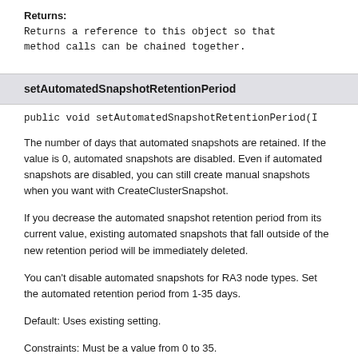Returns:
Returns a reference to this object so that method calls can be chained together.
setAutomatedSnapshotRetentionPeriod
public void setAutomatedSnapshotRetentionPeriod(I
The number of days that automated snapshots are retained. If the value is 0, automated snapshots are disabled. Even if automated snapshots are disabled, you can still create manual snapshots when you want with CreateClusterSnapshot.
If you decrease the automated snapshot retention period from its current value, existing automated snapshots that fall outside of the new retention period will be immediately deleted.
You can't disable automated snapshots for RA3 node types. Set the automated retention period from 1-35 days.
Default: Uses existing setting.
Constraints: Must be a value from 0 to 35.